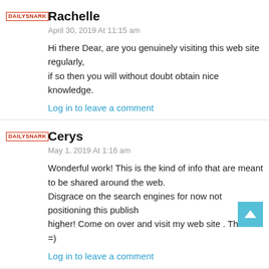Rachelle
April 30, 2019 At 11:15 am
Hi there Dear, are you genuinely visiting this web site regularly,
if so then you will without doubt obtain nice knowledge.
Log in to leave a comment
Cerys
May 1, 2019 At 1:16 am
Wonderful work! This is the kind of info that are meant to be shared around the web.
Disgrace on the search engines for now not positioning this publish
higher! Come on over and visit my web site . Thanks =)
Log in to leave a comment
http://tinyurl.com/